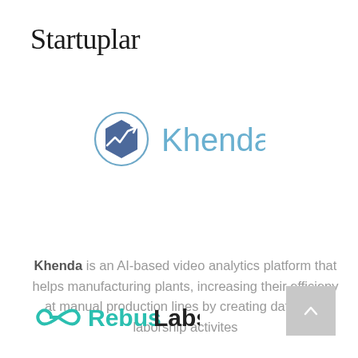Startuplar
[Figure (logo): Khenda logo: a circular outline containing a dark blue hexagon with a white trend/analytics arrow icon, followed by the word 'Khenda' in light blue sans-serif text]
Khenda is an AI-based video analytics platform that helps manufacturing plants, increasing their efficieny at manual production lines by creating data from laborship activites
[Figure (logo): RebusLabs logo: a teal/green infinity-like looping icon followed by 'Rebus' in teal bold and 'Labs' in dark bold text]
[Figure (other): Gray scroll-to-top button with upward chevron arrow]